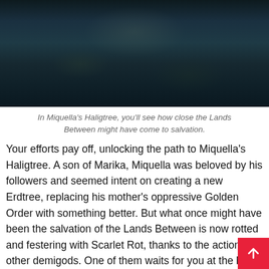[Figure (photo): Dark atmospheric screenshot from Elden Ring showing a figure in a body of water with ropes, in Miquella's Haligtree area. Teal/dark tones with water and foliage.]
In Miquella’s Haligtree, you’ll see how close the Lands Between might have come to salvation.
Your efforts pay off, unlocking the path to Miquella’s Haligtree. A son of Marika, Miquella was beloved by his followers and seemed intent on creating a new Erdtree, replacing his mother’s oppressive Golden Order with something better. But what once might have been the salvation of the Lands Between is now rotted and festering with Scarlet Rot, thanks to the actions of other demigods. One of them waits for you at the base of the tree.
Part 9: The Eternal Cities, Deeproot Depths and Moha